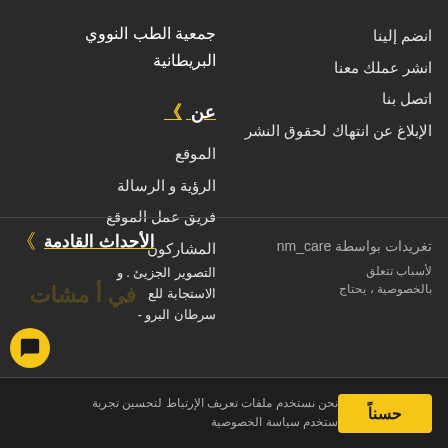انضم إلينا
انشر عملك معنا
اتصل بنا
الإبلاغ عن انتهاك لحقوق النشر
جمعية الطب النووي البريطانية
»» عن
الموقع
الرؤية و الرسالة
فريق عمل الموقع
المشاركون
تغريدات بواسطة nm_care
»» الأحداث القادمة
التصوير الجزيئ . و الاستجابة للع سرطان البرو -
لأسباب تتعلق بالخصوصية ، يحتاج
نحن نستخدم ملفات تعريف الإرتباط لتحسين تجربة 
ستخدم سياسة الخصوصية
حسناً